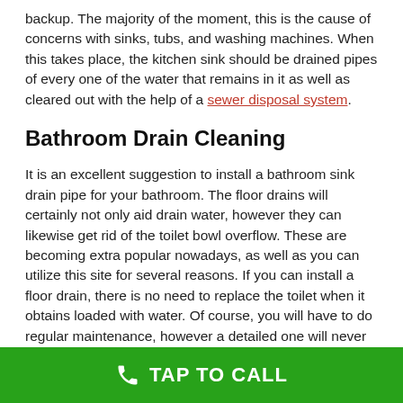backup. The majority of the moment, this is the cause of concerns with sinks, tubs, and washing machines. When this takes place, the kitchen sink should be drained pipes of every one of the water that remains in it as well as cleared out with the help of a sewer disposal system.
Bathroom Drain Cleaning
It is an excellent suggestion to install a bathroom sink drain pipe for your bathroom. The floor drains will certainly not only aid drain water, however they can likewise get rid of the toilet bowl overflow. These are becoming extra popular nowadays, as well as you can utilize this site for several reasons. If you can install a floor drain, there is no need to replace the toilet when it obtains loaded with water. Of course, you will have to do regular maintenance, however a detailed one will never ever be needed.
TAP TO CALL